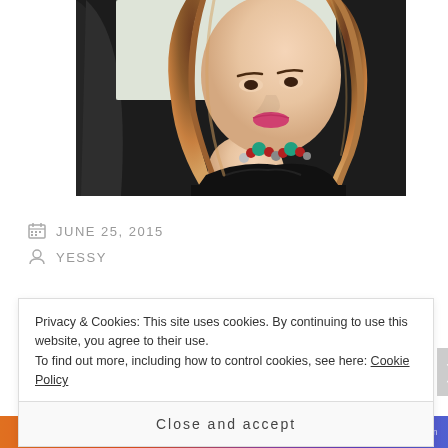[Figure (photo): Selfie of a young woman in a car, wearing a black top and a colorful beaded necklace with red and turquoise beads. She has long auburn/ombre hair and pink lipstick.]
JUNE 25, 2015
YESSY
Privacy & Cookies: This site uses cookies. By continuing to use this website, you agree to their use.
To find out more, including how to control cookies, see here: Cookie Policy
Close and accept